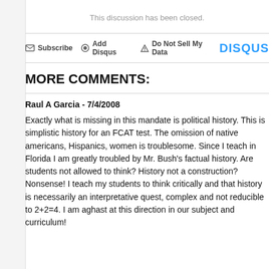This discussion has been closed.
Subscribe  Add Disqus  Do Not Sell My Data  DISQUS
MORE COMMENTS:
Raul A Garcia - 7/4/2008
Exactly what is missing in this mandate is political history. This is simplistic history for an FCAT test. The omission of native americans, Hispanics, women is troublesome. Since I teach in Florida I am greatly troubled by Mr. Bush's factual history. Are students not allowed to think? History not a construction? Nonsense! I teach my students to think critically and that history is necessarily an interpretative quest, complex and not reducible to 2+2=4. I am aghast at this direction in our subject and curriculum!